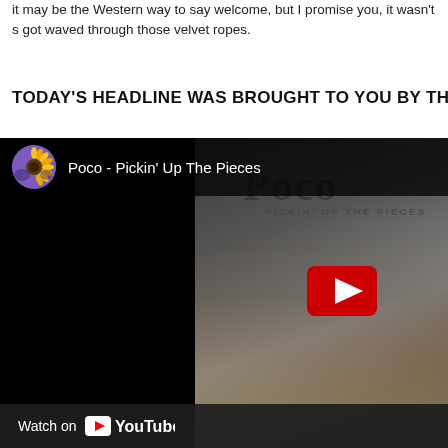it may be the Western way to say welcome, but I promise you, it wasn't so when we got waved through those velvet ropes.
TODAY'S HEADLINE WAS BROUGHT TO YOU BY THIS EA
[Figure (screenshot): YouTube video embed showing 'Poco - Pickin' Up The Pieces' with album art background featuring band members and a dog, with a red play button in the center. Bottom bar shows 'Watch on YouTube' text.]